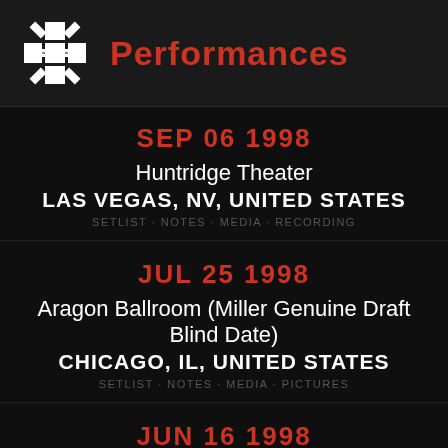Performances
SEP 06 1998
Huntridge Theater
LAS VEGAS, NV, UNITED STATES
SETLIST · NOTES · MEDIA · RECORDING
JUL 25 1998
Aragon Ballroom (Miller Genuine Draft Blind Date)
CHICAGO, IL, UNITED STATES
SETLIST · NOTES · MEDIA · PICTURES
JUN 16 1998
Bowery Ballroom